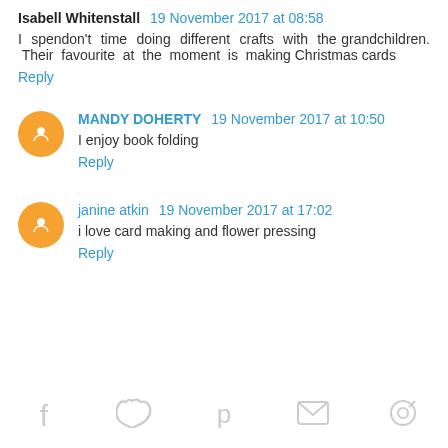Isabell Whitenstall 19 November 2017 at 08:58
I spendon't time doing different crafts with the grandchildren. Their favourite at the moment is making Christmas cards
Reply
MANDY DOHERTY 19 November 2017 at 10:50
I enjoy book folding
Reply
janine atkin 19 November 2017 at 17:02
i love card making and flower pressing
Reply